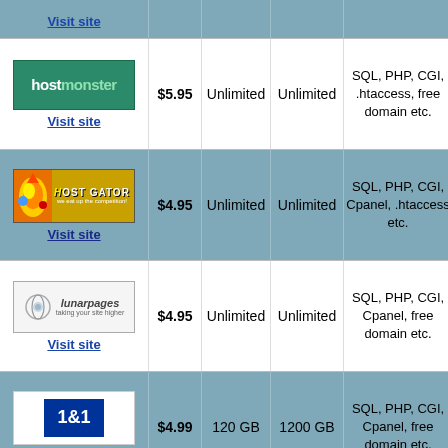| Host | Price | Storage | Bandwidth | Features |
| --- | --- | --- | --- | --- |
| Visit site |  |  |  |  |
| HostMonster
Visit site | $5.95 | Unlimited | Unlimited | SQL, PHP, CGI, .htaccess, free domain etc. |
| HostGator
Visit site | $4.95 | Unlimited | Unlimited | SQL, PHP, CGI, Cpanel, .htaccess etc. |
| Lunarpages
Visit site | $4.95 | Unlimited | Unlimited | SQL, PHP, CGI, Cpanel, free domain etc. |
| 1&1
Visit site | $4.99 | 120 GB | 1200 GB | SQL, PHP, CGI, Cpanel, free domain etc. |
| Bluehost
(partial) |  |  |  | SQL, PHP, CGI, |